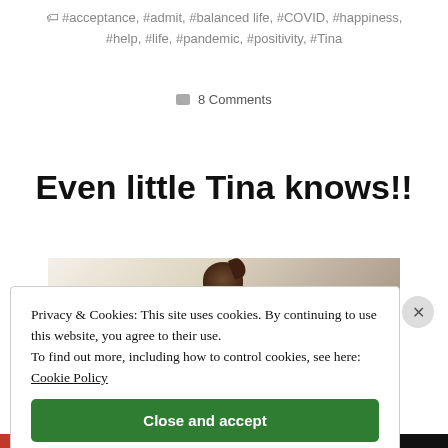#acceptance, #admit, #balanced life, #COVID, #happiness, #help, #life, #pandemic, #positivity, #Tina
8 Comments
Even little Tina knows!!
[Figure (photo): Photo of a young child with a ponytail, seen from behind, in a bright room with bookshelves]
Privacy & Cookies: This site uses cookies. By continuing to use this website, you agree to their use.
To find out more, including how to control cookies, see here: Cookie Policy
Close and accept